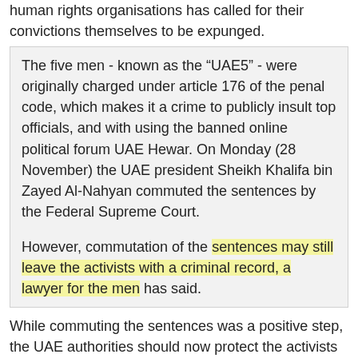human rights organisations has called for their convictions themselves to be expunged.
The five men - known as the “UAE5” - were originally charged under article 176 of the penal code, which makes it a crime to publicly insult top officials, and with using the banned online political forum UAE Hewar. On Monday (28 November) the UAE president Sheikh Khalifa bin Zayed Al-Nahyan commuted the sentences by the Federal Supreme Court.
However, commutation of the sentences may still leave the activists with a criminal record, a lawyer for the men has said.
While commuting the sentences was a positive step, the UAE authorities should now protect the activists and their associates from pro-government vigilantes, and immediately investigate the numerous threats against them, said the human rights coalition, which includes Alkarama (Dignite). A separate international the Arabic...